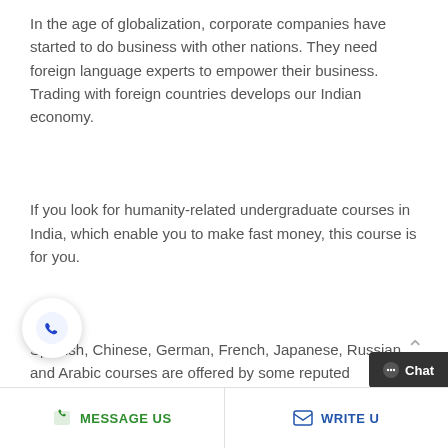In the age of globalization, corporate companies have started to do business with other nations. They need foreign language experts to empower their business. Trading with foreign countries develops our Indian economy.
If you look for humanity-related undergraduate courses in India, which enable you to make fast money, this course is for you.
Spanish, Chinese, German, French, Japanese, Russian, and Arabic courses are offered by some reputed universities in
MESSAGE US   WRITE US   Chat